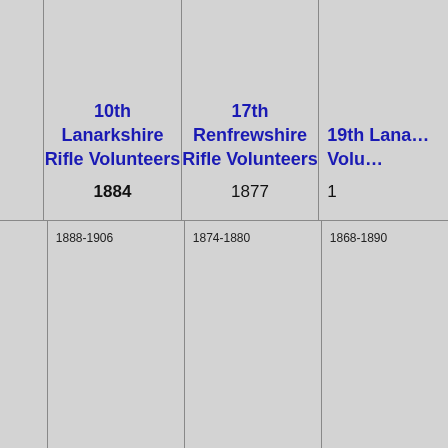| 10th Lanarkshire Rifle Volunteers
1884 | 17th Renfrewshire Rifle Volunteers
1877 | 19th Lana...
Volu...
1... |
| --- | --- | --- |
| 1888-1906 | 1874-1880 | 1868-1890 |